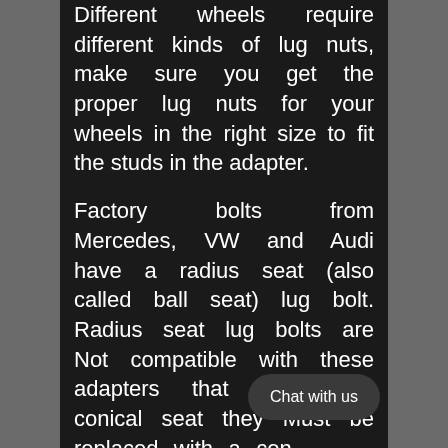Different wheels require different kinds of lug nuts, make sure you get the proper lug nuts for your wheels in the right size to fit the studs in the adapter.
Factory bolts from Mercedes, VW and Audi have a radius seat (also called ball seat) lug bolt. Radius seat lug bolts are Not compatible with these adapters that require a conical seat they Must be replaced with a conical seat fastener or failure will occur.